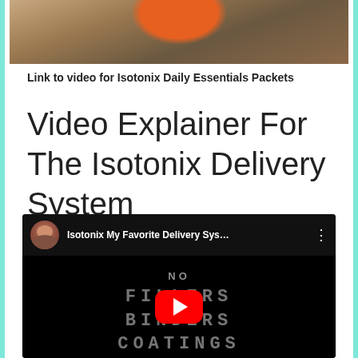[Figure (photo): Partial top image showing food items on a wooden surface with an orange/red circular object]
Link to video for Isotonix Daily Essentials Packets
Video Explainer For The Isotonix Delivery System
[Figure (screenshot): Embedded YouTube video thumbnail showing 'Isotonix My Favorite Delivery Sys...' with a dark background displaying text: NO FILLERS BINDERS COATINGS LUBRICANTS with a YouTube play button in the center]